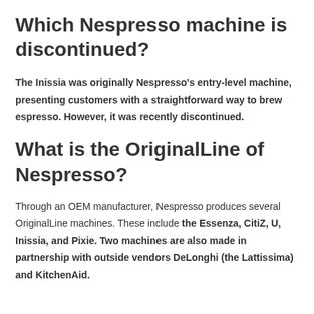Which Nespresso machine is discontinued?
The Inissia was originally Nespresso's entry-level machine, presenting customers with a straightforward way to brew espresso. However, it was recently discontinued.
What is the OriginalLine of Nespresso?
Through an OEM manufacturer, Nespresso produces several OriginalLine machines. These include the Essenza, CitiZ, U, Inissia, and Pixie. Two machines are also made in partnership with outside vendors DeLonghi (the Lattissima) and KitchenAid.